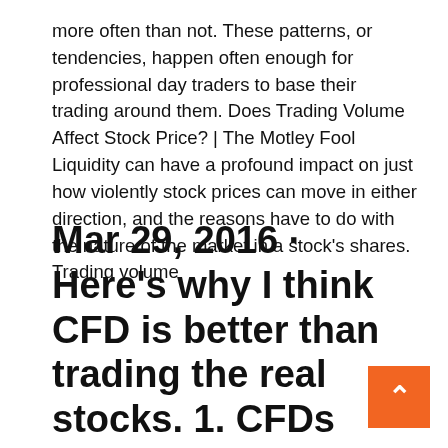more often than not. These patterns, or tendencies, happen often enough for professional day traders to base their trading around them. Does Trading Volume Affect Stock Price? | The Motley Fool Liquidity can have a profound impact on just how violently stock prices can move in either direction, and the reasons have to do with the nature of the market in a stock's shares. Trading volume
Mar 29, 2016 · Here's why I think CFD is better than trading the real stocks. 1. CFDs have no liquidity issues, your orders will be executed almost instantly 2. Low liquidity stocks are